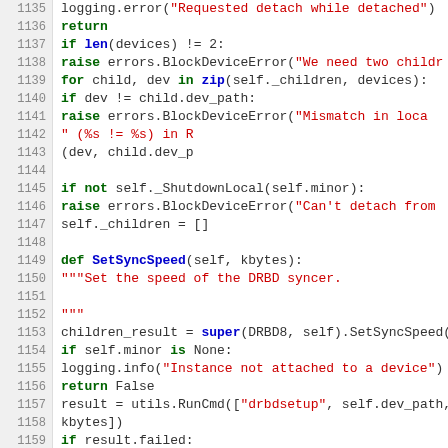[Figure (screenshot): Source code listing in Python showing lines 1135-1160 with line numbers, syntax highlighting in green for keywords, red for strings, and blue for built-in functions.]